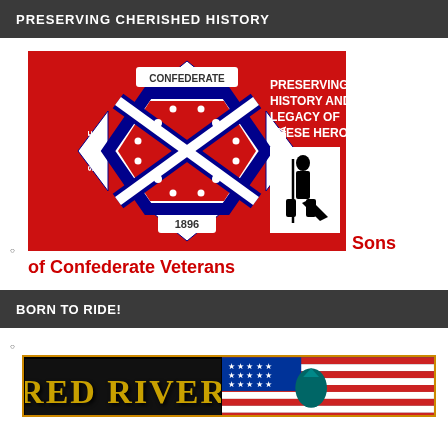PRESERVING CHERISHED HISTORY
Sons of Confederate Veterans
[Figure (illustration): Sons of Confederate Veterans logo on red background with Confederate battle flag emblem, text 'CONFEDERATE' at top, 'SONS OF' on left, 'VETERANS' on right, '1896' at bottom, and text 'PRESERVING THE HISTORY AND LEGACY OF THESE HEROES.' with silhouette of kneeling soldier]
BORN TO RIDE!
[Figure (illustration): Red River logo on black background on left half; American flag-themed image on right half]